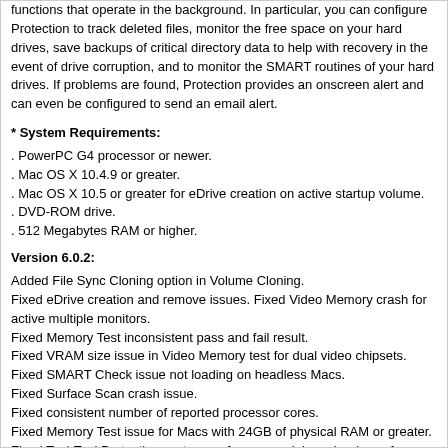functions that operate in the background. In particular, you can configure Protection to track deleted files, monitor the free space on your hard drives, save backups of critical directory data to help with recovery in the event of drive corruption, and to monitor the SMART routines of your hard drives. If problems are found, Protection provides an onscreen alert and can even be configured to send an email alert.
* System Requirements:
. PowerPC G4 processor or newer.
. Mac OS X 10.4.9 or greater.
. Mac OS X 10.5 or greater for eDrive creation on active startup volume.
. DVD-ROM drive.
. 512 Megabytes RAM or higher.
Version 6.0.2:
Added File Sync Cloning option in Volume Cloning.
Fixed eDrive creation and remove issues. Fixed Video Memory crash for active multiple monitors.
Fixed Memory Test inconsistent pass and fail result.
Fixed VRAM size issue in Video Memory test for dual video chipsets.
Fixed SMART Check issue not loading on headless Macs.
Fixed Surface Scan crash issue.
Fixed consistent number of reported processor cores.
Fixed Memory Test issue for Macs with 24GB of physical RAM or greater.
Fixed TechTool Protection system preference serial number issue for multiple users.
Fixed mounting and dismounting application crash.
Enhanced install and uninstall routines in TechTool Pro 6 Installer.